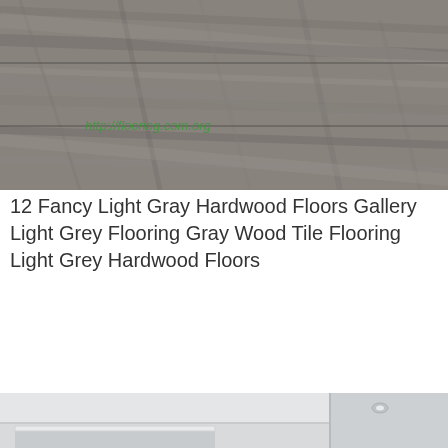[Figure (photo): Close-up photo of gray wood-grain hardwood flooring with a green watermark URL text overlay in the upper-left area]
12 Fancy Light Gray Hardwood Floors Gallery Light Grey Flooring Gray Wood Tile Flooring Light Grey Hardwood Floors
[Figure (photo): Interior room photo showing light gray painted walls with white crown molding, a white multi-pane window, and a recessed ceiling light]